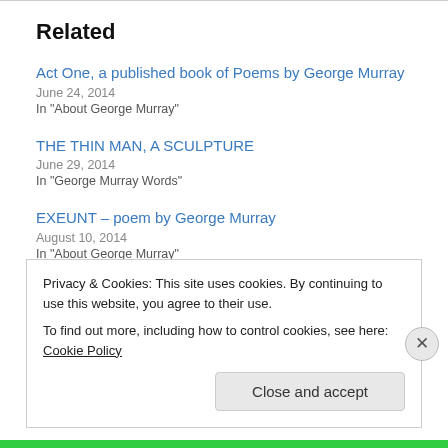Related
Act One, a published book of Poems by George Murray
June 24, 2014
In "About George Murray"
THE THIN MAN, A SCULPTURE
June 29, 2014
In "George Murray Words"
EXEUNT – poem by George Murray
August 10, 2014
In "About George Murray"
Privacy & Cookies: This site uses cookies. By continuing to use this website, you agree to their use.
To find out more, including how to control cookies, see here: Cookie Policy